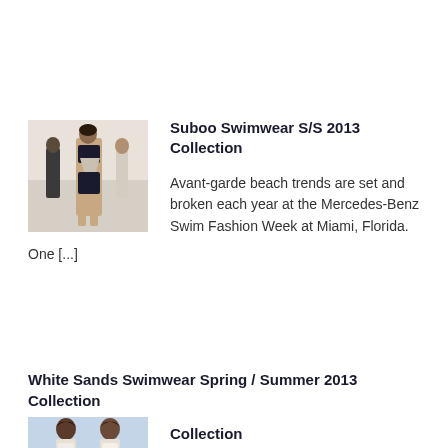[Figure (photo): Fashion model on runway wearing black and white swimwear]
Suboo Swimwear S/S 2013 Collection
Avant-garde beach trends are set and broken each year at the Mercedes-Benz Swim Fashion Week at Miami, Florida. One [...]
White Sands Swimwear Spring / Summer 2013 Collection
[Figure (photo): Two women in white swimwear]